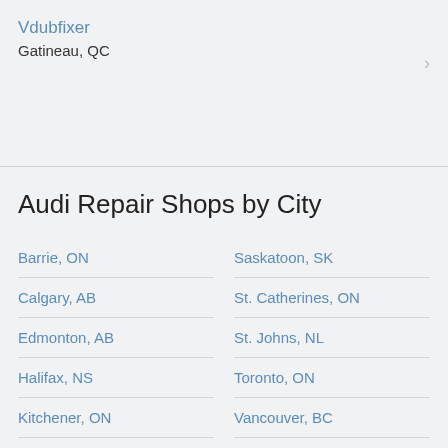Vdubfixer
Gatineau, QC
Audi Repair Shops by City
Barrie, ON
Saskatoon, SK
Calgary, AB
St. Catherines, ON
Edmonton, AB
St. Johns, NL
Halifax, NS
Toronto, ON
Kitchener, ON
Vancouver, BC
London, ON
Victoria, BC